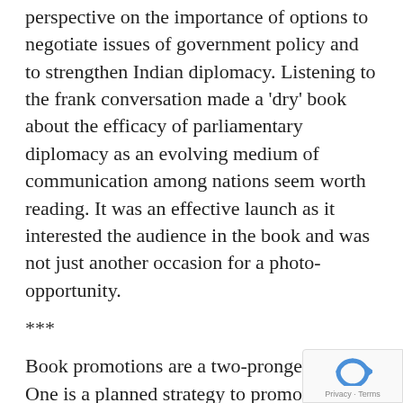perspective on the importance of options to negotiate issues of government policy and to strengthen Indian diplomacy. Listening to the frank conversation made a 'dry' book about the efficacy of parliamentary diplomacy as an evolving medium of communication among nations seem worth reading. It was an effective launch as it interested the audience in the book and was not just another occasion for a photo-opportunity.
***
Book promotions are a two-pronged affair. One is a planned strategy to promote a book: an author tour, book launches (preferably with a celebrity launching it), circulating review copies, book trailers on YouTube, interviews and interactions on all media